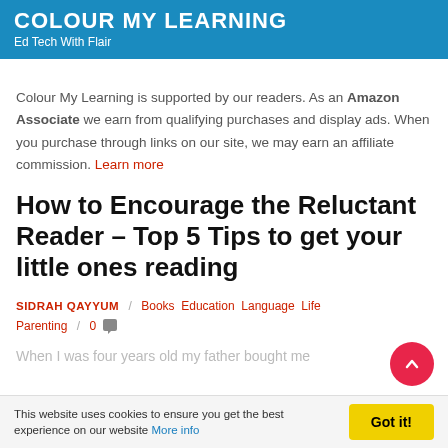COLOUR MY LEARNING — Ed Tech With Flair
Colour My Learning is supported by our readers. As an Amazon Associate we earn from qualifying purchases and display ads. When you purchase through links on our site, we may earn an affiliate commission. Learn more
How to Encourage the Reluctant Reader – Top 5 Tips to get your little ones reading
SIDRAH QAYYUM / Books Education Language Life Parenting / 0 comments
When I was four years old my father bought me...
This website uses cookies to ensure you get the best experience on our website More info | Got it!